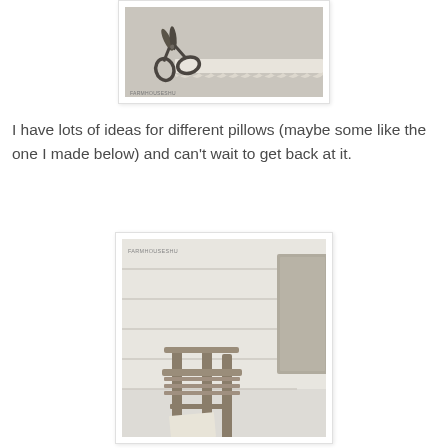[Figure (photo): Photo of antique scissors and lace ribbon on a light gray fabric background, with FARMHOUSESHU watermark in lower left]
I have lots of ideas for different pillows (maybe some like the one I made below) and can't wait to get back at it.
[Figure (photo): Photo of a rustic wooden chair against white shiplap wall with a gray linen pillow, FARMHOUSESHU watermark in upper left]